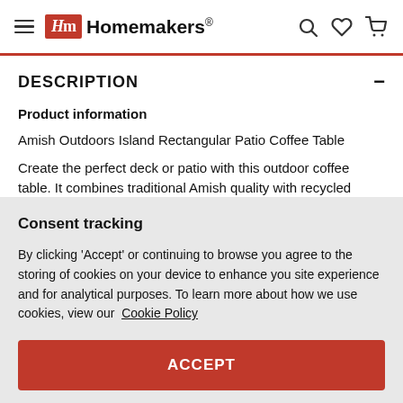Homemakers
DESCRIPTION
Product information
Amish Outdoors Island Rectangular Patio Coffee Table
Create the perfect deck or patio with this outdoor coffee table. It combines traditional Amish quality with recycled plastic for a
Consent tracking
By clicking 'Accept' or continuing to browse you agree to the storing of cookies on your device to enhance you site experience and for analytical purposes. To learn more about how we use cookies, view our Cookie Policy
ACCEPT